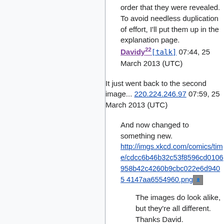order that they were revealed. To avoid needless duplication of effort, I'll put them up in the explanation page. Davidy22 [talk] 07:44, 25 March 2013 (UTC)
It just went back to the second image... 220.224.246.97 07:59, 25 March 2013 (UTC)
And now changed to something new. http://imgs.xkcd.com/comics/time/cdcc6b46b32c53f8596cd0106958b42c4260b9cbc022e6d94054147aa6554960.png
The images do look alike, but they're all different. Thanks David. Statharas 903 (talk) 08:04